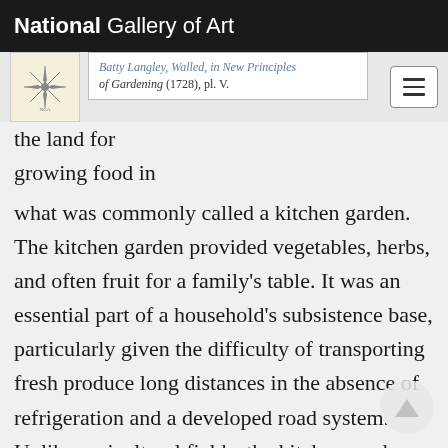National Gallery of Art
Batty Langley, Walled, in New Principles of Gardening (1728), pl. V.
the land for growing food in what was commonly called a kitchen garden. The kitchen garden provided vegetables, herbs, and often fruit for a family's table. It was an essential part of a household's subsistence base, particularly given the difficulty of transporting fresh produce long distances in the absence of refrigeration and a developed road system. Unlike agricultural fields, the kitchen garden was smaller in scale, contained a variety of crops, and was generally enclosed and located near the dwelling house.